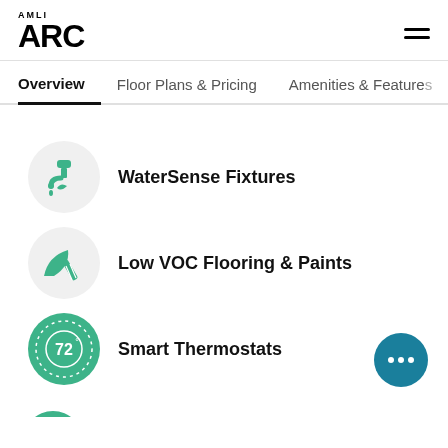AMLI ARC
Overview | Floor Plans & Pricing | Amenities & Features
WaterSense Fixtures
Low VOC Flooring & Paints
Smart Thermostats